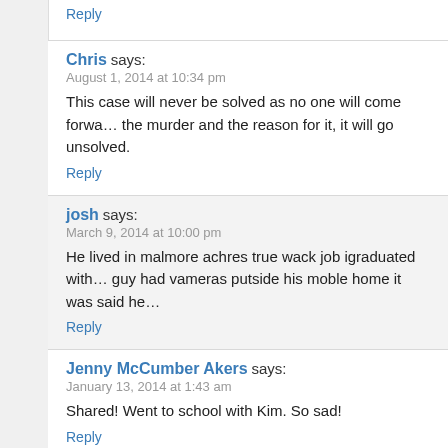Reply
Chris says:
August 1, 2014 at 10:34 pm
This case will never be solved as no one will come forward... the murder and the reason for it, it will go unsolved.
Reply
josh says:
March 9, 2014 at 10:00 pm
He lived in malmore achres true wack job igraduated with... guy had vameras putside his moble home it was said he...
Reply
Jenny McCumber Akers says:
January 13, 2014 at 1:43 am
Shared! Went to school with Kim. So sad!
Reply
Anita Martin says:
January 13, 2013 at 11:59 pm